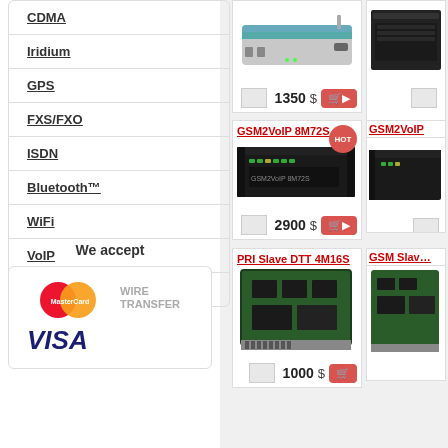CDMA
Iridium
GPS
FXS/FXO
ISDN
Bluetooth™
WiFi
VoIP
DECT
We accept
[Figure (logo): MasterCard logo (two overlapping circles, red and orange) and WIRE TRANSFER text, plus VISA logo in blue italic]
[Figure (photo): GSM modem device - silver/grey box with blue stripe, shown from front angle. Price: 1350 $]
[Figure (photo): Partial right product image (32M12G3 or similar), black rack-mount hardware]
GSM2VoIP 8M72S
[Figure (photo): GSM2VoIP 8M72S - black 1U rack-mount device. Price: 2900 $]
GSM2VoIP (partial)
PRI Slave DTT 4M16S
[Figure (photo): PRI Slave DTT 4M16S - green circuit board/card device. Price: 1000 $]
GSM Slave (partial)